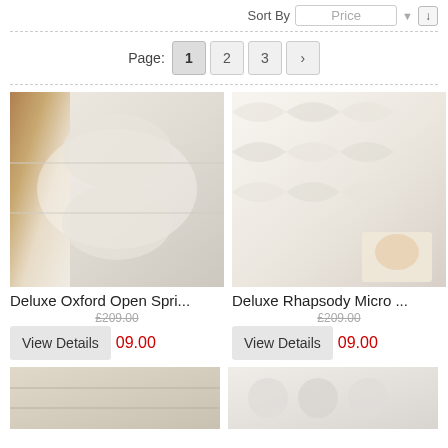Sort By  Price  ↓
Page: 1 2 3 >
[Figure (photo): White mattress with pillow-top surface, left product image]
[Figure (photo): White quilted mattress close-up with baby image on label, right product image]
Deluxe Oxford Open Spri...
Deluxe Rhapsody Micro ...
£209.00
£209.00
[Figure (photo): Bottom left mattress partial image]
[Figure (photo): Bottom right mattress partial image]